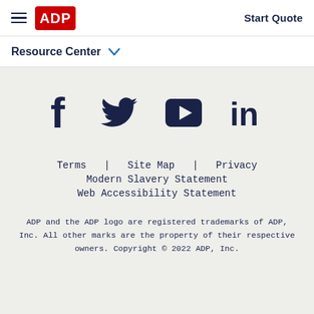ADP logo | Start Quote
Resource Center
[Figure (illustration): Social media icons: Facebook, Twitter, YouTube, LinkedIn]
Terms | Site Map | Privacy
Modern Slavery Statement
Web Accessibility Statement
ADP and the ADP logo are registered trademarks of ADP, Inc. All other marks are the property of their respective owners. Copyright © 2022 ADP, Inc.